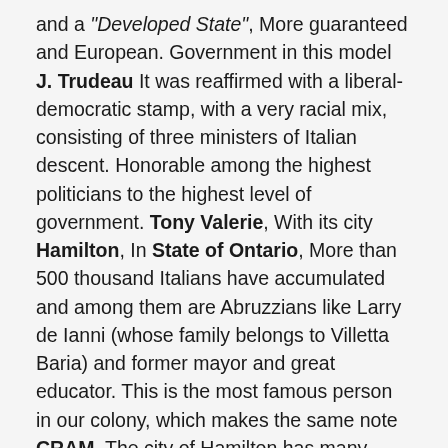and a "Developed State", More guaranteed and European. Government in this model J. Trudeau It was reaffirmed with a liberal-democratic stamp, with a very racial mix, consisting of three ministers of Italian descent. Honorable among the highest politicians to the highest level of government. Tony Valerie, With its city Hamilton, In State of Ontario, More than 500 thousand Italians have accumulated and among them are Abruzzians like Larry de Ianni (whose family belongs to Villetta Baria) and former mayor and great educator. This is the most famous person in our colony, which makes the same note CRAM, The city of Hamilton has many twins with pelican centers. Undoubtedly, however, the most attractive mayor figure is Mauricio Bevilacqua (born 1960), born in Salmona and emigrated to Canada at the age of 10, re-elected mayor of the city of Vaughan (more than 300,000 people), north of Toronto. Already a very young deputy at the age of 28 and re-elected until 2010, he even ran for the federal leadership of the Best